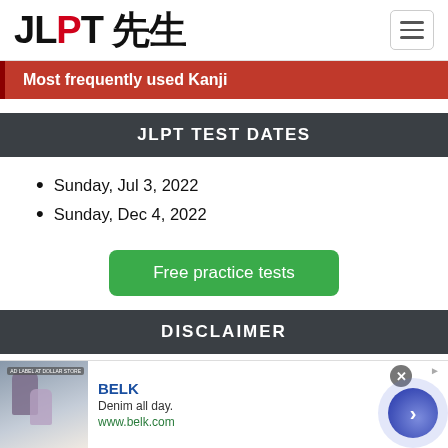JLPT 先生
Most frequently used Kanji
JLPT TEST DATES
Sunday, Jul 3, 2022
Sunday, Dec 4, 2022
[Figure (other): Green button: Free practice tests]
DISCLAIMER
JLPT Sensei participates in the Amazon Services LLC
[Figure (other): Advertisement banner: BELK - Denim all day. www.belk.com]